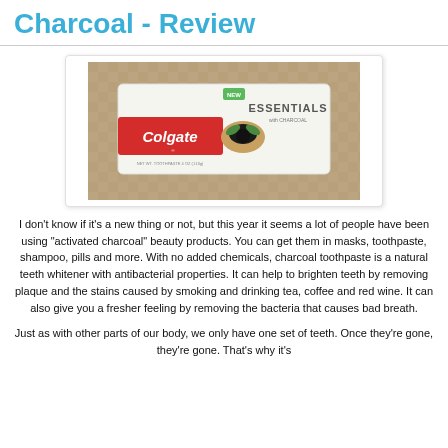Charcoal - Review
[Figure (photo): Photo of Colgate Essentials with Charcoal toothpaste box on a patterned background]
I don't know if it's a new thing or not, but this year it seems a lot of people have been using "activated charcoal" beauty products.  You can get them in masks, toothpaste, shampoo, pills and more.  With no added chemicals, charcoal toothpaste is a natural teeth whitener with antibacterial properties. It can help to brighten teeth by removing plaque and the stains caused by smoking and drinking tea, coffee and red wine.  It can also give you a fresher feeling by removing the bacteria that causes bad breath.
Just as with other parts of our body, we only have one set of teeth.  Once they're gone, they're gone.  That's why it's